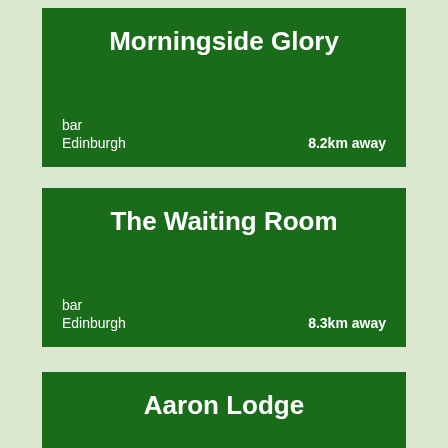Morningside Glory
bar
Edinburgh  8.2km away
The Waiting Room
bar
Edinburgh  8.3km away
Aaron Lodge